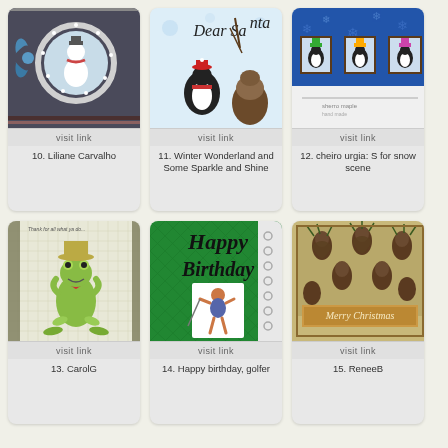[Figure (photo): Card with snowman in circle wreath, blue ribbon bow on dark background]
visit link
10. Liliane Carvalho
[Figure (photo): Card reading Dear Santa with penguin and pine cone in winter scene]
visit link
11. Winter Wonderland and Some Sparkle and Shine
[Figure (photo): Blue snowflake background card with three framed penguin scenes]
visit link
12. cheiro urgia: S for snow scene
[Figure (photo): Card with frog character wearing hat and holding heart, grid paper background]
visit link
13. CarolG
[Figure (photo): Green Happy Birthday card with golfer figure]
visit link
14. Happy birthday, golfer
[Figure (photo): Christmas card with pine cone botanical design and Merry Christmas banner]
visit link
15. ReneeB